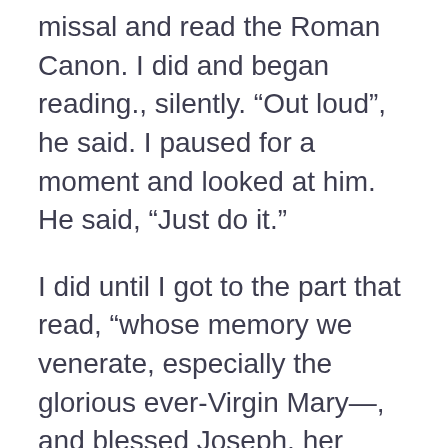missal and read the Roman Canon. I did and began reading., silently. “Out loud”, he said. I paused for a moment and looked at him. He said, “Just do it.”
I did until I got to the part that read, “whose memory we venerate, especially the glorious ever-Virgin Mary—, and blessed Joseph, her spouse—”, etc. “Okay, stop,” he said. “Tell me about all those people.”
“What about them?” I don’t